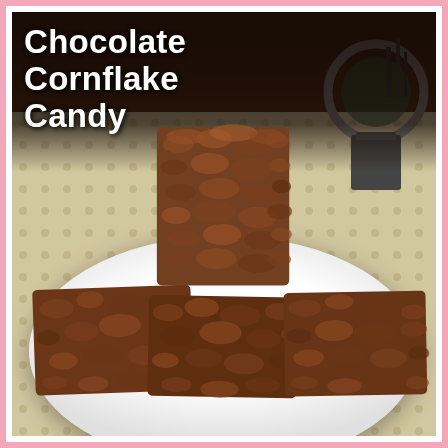[Figure (photo): Photograph of chocolate cornflake candy pieces stacked on a white plate, set on a polka-dot tablecloth with dark background and decorative items visible behind. Chocolate-coated cornflake squares are stacked with one piece standing upright on top.]
Chocolate Cornflake Candy